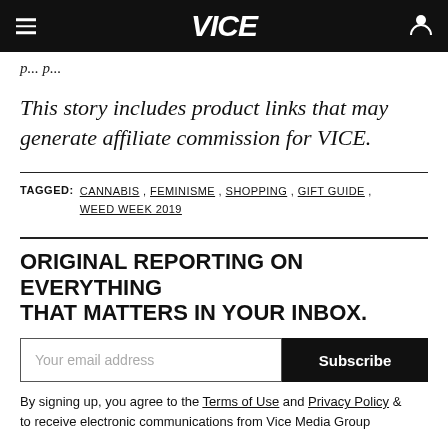VICE
p...p...
This story includes product links that may generate affiliate commission for VICE.
TAGGED: CANNABIS, FEMINISME, SHOPPING, GIFT GUIDE, WEED WEEK 2019
ORIGINAL REPORTING ON EVERYTHING THAT MATTERS IN YOUR INBOX.
By signing up, you agree to the Terms of Use and Privacy Policy & to receive electronic communications from Vice Media Group